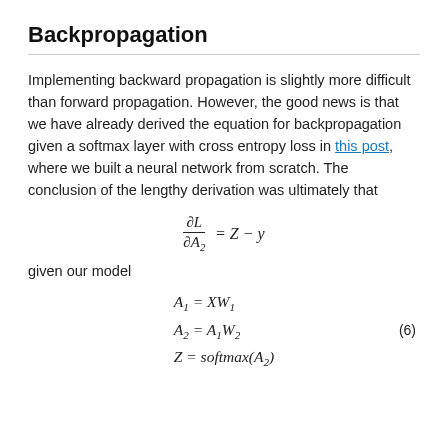Backpropagation
Implementing backward propagation is slightly more difficult than forward propagation. However, the good news is that we have already derived the equation for backpropagation given a softmax layer with cross entropy loss in this post, where we built a neural network from scratch. The conclusion of the lengthy derivation was ultimately that
given our model